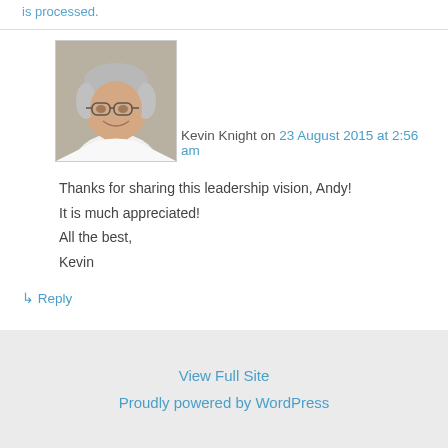is processed.
[Figure (photo): Avatar photo of Kevin Knight, a man with gray hair and glasses, smiling]
Kevin Knight on 23 August 2015 at 2:56 am
Thanks for sharing this leadership vision, Andy!
It is much appreciated!
All the best,
Kevin
↳ Reply
View Full Site
Proudly powered by WordPress